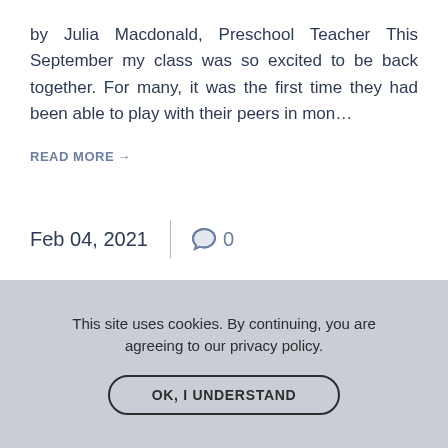by Julia Macdonald, Preschool Teacher This September my class was so excited to be back together. For many, it was the first time they had been able to play with their peers in mon…
READ MORE→
Feb 04, 2021  | 💬 0
This site uses cookies. By continuing, you are agreeing to our privacy policy.
OK, I UNDERSTAND